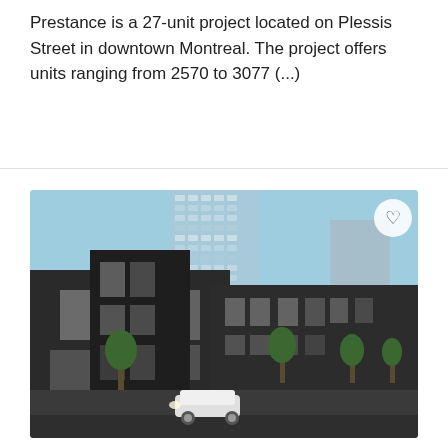Prestance is a 27-unit project located on Plessis Street in downtown Montreal. The project offers units ranging from 2570 to 3077 (...)
[Figure (photo): Architectural rendering of Prestance development showing dark-facade townhouses in the foreground and a tall glass condo tower behind, with trees, parked cars, and a white luxury car on the street. Blue sky background.]